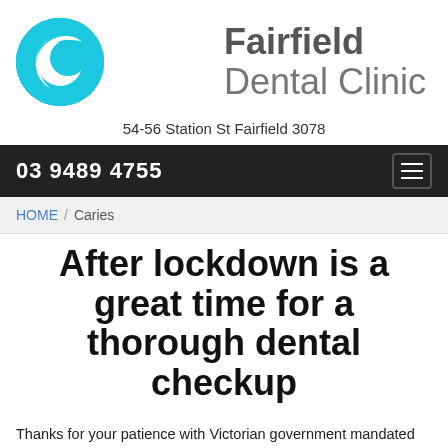[Figure (logo): Fairfield Dental Clinic logo: cyan/light blue circle with a white crescent moon/smile shape, next to the text 'Fairfield Dental Clinic' in grey]
54-56 Station St Fairfield 3078
03 9489 4755
HOME / Caries
After lockdown is a great time for a thorough dental checkup
Thanks for your patience with Victorian government mandated